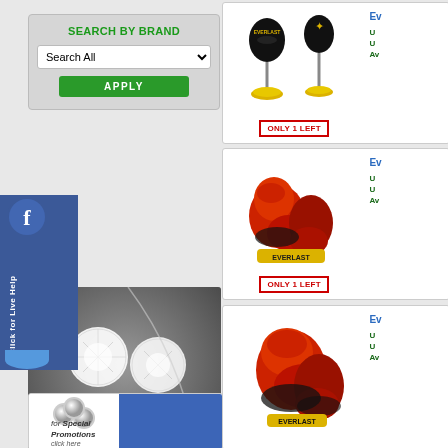SEARCH BY BRAND
Search All
APPLY
[Figure (photo): Facebook Live Help button - blue heart shape with 'f' logo and 'Click for Live Help' text]
[Figure (photo): Jewelry advertisement banner - diamond stud earrings with 'introducing JEWELRY - A passion of every woman.' text on dark background]
[Figure (photo): Special Promotions click here banner with silver spheres and blue design]
[Figure (photo): Everlast desktop punching ball set - two black teardrop shaped punch bags with yellow bases. Shows 'ONLY 1 LEFT' label.]
Ev
U
U
Av
ONLY 1 LEFT
[Figure (photo): Everlast red boxing gloves on stand with 'ONLY 1 LEFT' label]
Ev
U
U
Av
ONLY 1 LEFT
[Figure (photo): Everlast red boxing gloves - single glove product photo]
Ev
U
U
Av